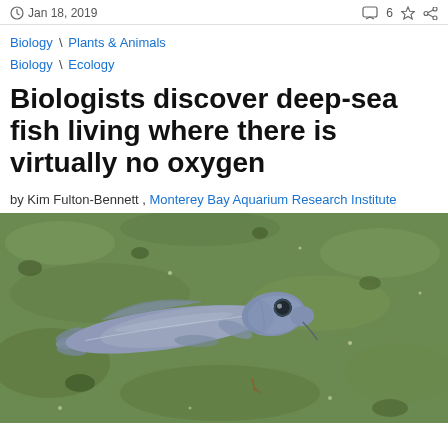Jan 18, 2019
Biology \ Plants & Animals
Biology \ Ecology
Biologists discover deep-sea fish living where there is virtually no oxygen
by Kim Fulton-Bennett , Monterey Bay Aquarium Research Institute
[Figure (photo): A deep-sea fish (Cataetyx) photographed on the seafloor, resting on greenish-colored sediment. The fish is elongated, silvery-grey with a rounded head and visible eyes, photographed from above by an underwater remotely operated vehicle.]